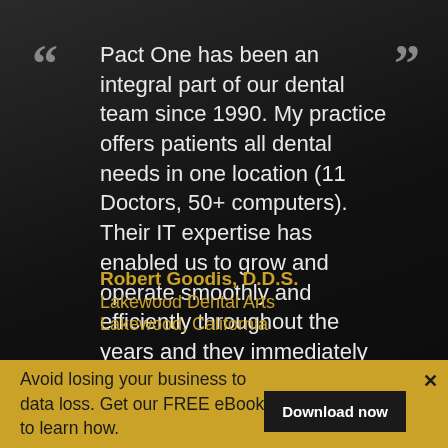Pact One has been an integral part of our dental team since 1990. My practice offers patients all dental needs in one location (11 Doctors, 50+ computers). Their IT expertise has enabled us to grow and operate smoothly and efficiently throughout the years and they immediately address any issues ...Read More
Robert Goodis, D.D.S.
Lakewood Dental Arts
Lakewood, California
Avoid losing your business to data loss. Get our FREE eBook to learn how.
Download now